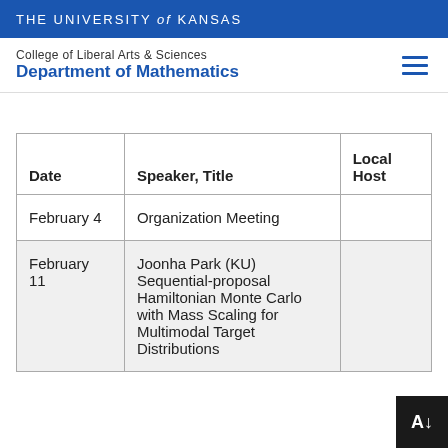THE UNIVERSITY of KANSAS
College of Liberal Arts & Sciences
Department of Mathematics
| Date | Speaker, Title | Local Host |
| --- | --- | --- |
| February 4 | Organization Meeting |  |
| February 11 | Joonha Park (KU) Sequential-proposal Hamiltonian Monte Carlo with Mass Scaling for Multimodal Target Distributions |  |